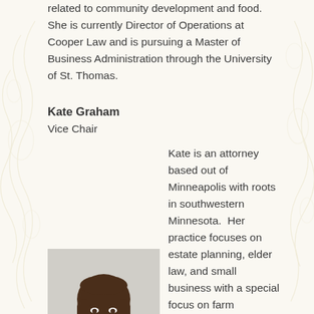related to community development and food. She is currently Director of Operations at Cooper Law and is pursuing a Master of Business Administration through the University of St. Thomas.
Kate Graham
Vice Chair
[Figure (photo): Professional headshot of Kate Graham, a woman with long brown hair wearing a dark blazer, photographed against a light gray background.]
Kate is an attorney based out of Minneapolis with roots in southwestern Minnesota.  Her practice focuses on estate planning, elder law, and small business with a special focus on farm succession planning.  She received a law degree from William Mitchell College of Law and an LL.M. degree in Food and Agricultural Law from the University of Arkansas School of Law,